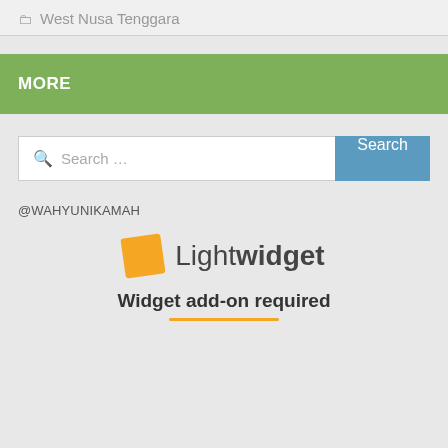West Nusa Tenggara
MORE
Search ...
@WAHYUNIKAMAH
[Figure (logo): Lightwidget logo with orange square and text 'Lightwidget']
Widget add-on required